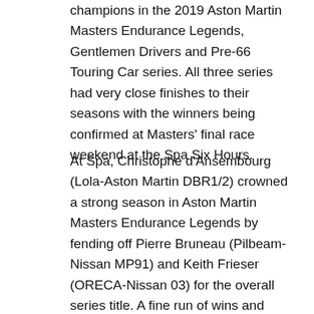champions in the 2019 Aston Martin Masters Endurance Legends, Gentlemen Drivers and Pre-66 Touring Car series. All three series had very close finishes to their seasons with the winners being confirmed at Masters' final race weekend at the Spa Six Hours.
At Spa, Christophe d'Ansembourg (Lola-Aston Martin DBR1/2) crowned a strong season in Aston Martin Masters Endurance Legends by fending off Pierre Bruneau (Pilbeam-Nissan MP91) and Keith Frieser (ORECA-Nissan 03) for the overall series title. A fine run of wins and podiums – both overall and in his G3/P1 class – were enough for the Belgian to stay ahead of Bruneau and Frieser in the overall points race. The Frenchman and Canadian also enjoyed